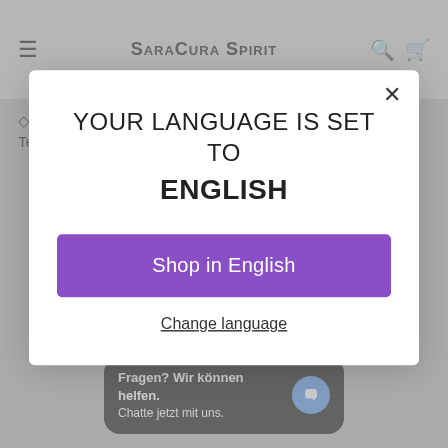[Figure (screenshot): SaraCura Spirit website navigation bar with hamburger menu icon, logo with Ganesha image, search and cart icons on grey background]
◇ SaraCura supports Kiva. Please consider joining our Kiva Team - Yoga can help the world!
[Figure (screenshot): Modal dialog: YOUR LANGUAGE IS SET TO ENGLISH with 'Shop in English' purple button and 'Change language' underlined link, close X button]
YOU MAY ALSO LIKE
[Figure (screenshot): Chat widget: Fragen? Wir können helfen. Chatte jetzt mit uns. with blue chat bubble icon on dark background]